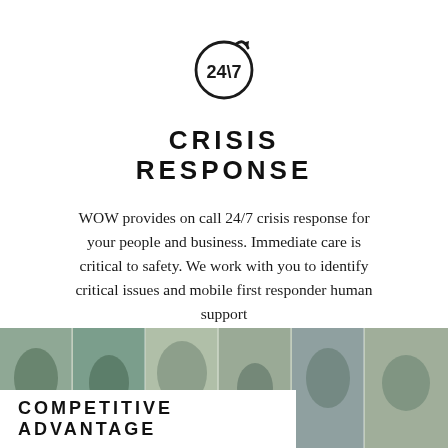[Figure (logo): 24/7 circular arrow icon with text '24\7' inside a circle with an arrow at the top]
CRISIS RESPONSE
WOW provides on call 24/7 crisis response for your people and business. Immediate care is critical to safety. We work with you to identify critical issues and mobile first responder human support
[Figure (photo): Strip of multiple outdoor/nature scene photographs in muted tones arranged side by side]
COMPETITIVE ADVANTAGE